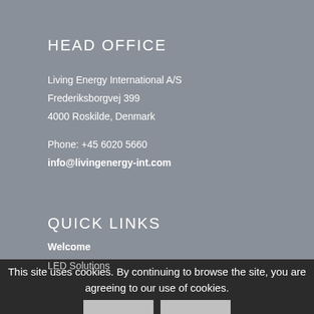HEAD OFFICE
Living Energy International A/S
Frederiksborgvej 399
4000 Roskilde, Denmark
Phone: +45 6020 5660
info@livingenergy-int.com
QUICK LINKS
Welcome
LED Solutions
This site uses cookies. By continuing to browse the site, you are agreeing to our use of cookies.